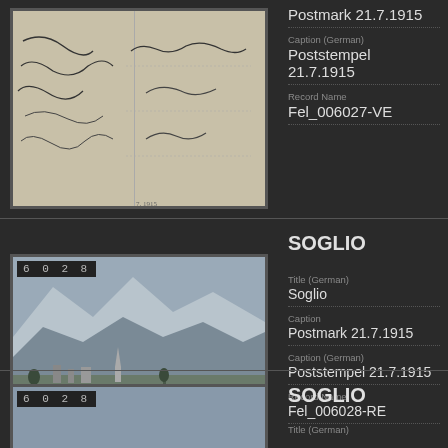[Figure (photo): Handwritten postcard back, showing cursive script text. Record number at top.]
Postmark 21.7.1915
Caption (German)
Poststempel 21.7.1915
Record Name
Fel_006027-VE
SOGLIO
[Figure (photo): Black and white photograph of Soglio village with mountain backdrop. Record number 6028 displayed.]
Title (German)
Soglio
Caption
Postmark 21.7.1915
Caption (German)
Poststempel 21.7.1915
Record Name
Fel_006028-RE
SOGLIO
[Figure (photo): Partial view of another record with badge 6028, bottom of page.]
Title (German)